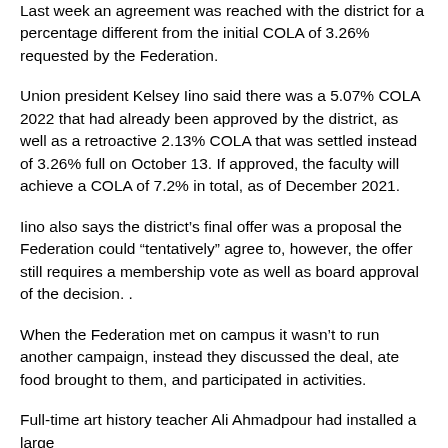Last week an agreement was reached with the district for a percentage different from the initial COLA of 3.26% requested by the Federation.
Union president Kelsey Iino said there was a 5.07% COLA 2022 that had already been approved by the district, as well as a retroactive 2.13% COLA that was settled instead of 3.26% full on October 13. If approved, the faculty will achieve a COLA of 7.2% in total, as of December 2021.
Iino also says the district’s final offer was a proposal the Federation could “tentatively” agree to, however, the offer still requires a membership vote as well as board approval of the decision. .
When the Federation met on campus it wasn’t to run another campaign, instead they discussed the deal, ate food brought to them, and participated in activities.
Full-time art history teacher Ali Ahmadpour had installed a large